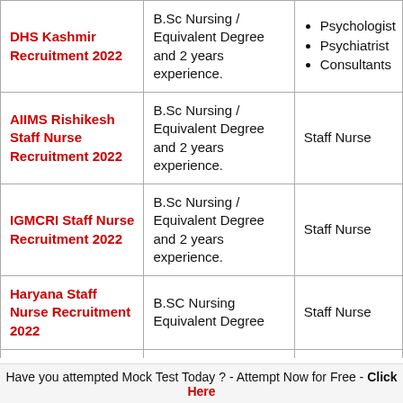| Recruitment | Qualification | Posts |
| --- | --- | --- |
| DHS Kashmir Recruitment 2022 | B.Sc Nursing / Equivalent Degree and 2 years experience. | Psychologist, Psychiatrist, Consultants |
| AIIMS Rishikesh Staff Nurse Recruitment 2022 | B.Sc Nursing / Equivalent Degree and 2 years experience. | Staff Nurse |
| IGMCRI Staff Nurse Recruitment 2022 | B.Sc Nursing / Equivalent Degree and 2 years experience. | Staff Nurse |
| Haryana Staff Nurse Recruitment 2022 | B.SC Nursing Equivalent Degree | Staff Nurse |
| Haryana GNM | GNM Equivalent | GNM |
Have you attempted Mock Test Today ? - Attempt Now for Free - Click Here